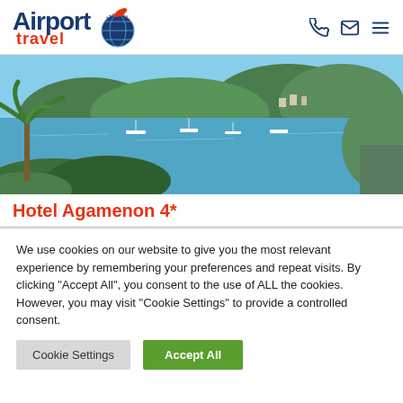[Figure (logo): Airport Travel logo with globe and airplane icon, blue and red colors]
[Figure (photo): Scenic bay view with turquoise water, boats, green hills and palm tree in foreground — hotel location photo]
Hotel Agamenon 4*
We use cookies on our website to give you the most relevant experience by remembering your preferences and repeat visits. By clicking "Accept All", you consent to the use of ALL the cookies. However, you may visit "Cookie Settings" to provide a controlled consent.
Cookie Settings | Accept All